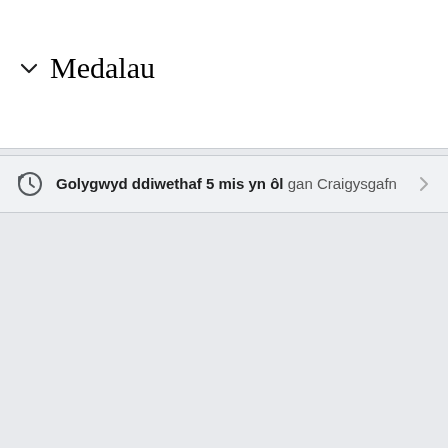Medalau
Golygwyd ddiwethaf 5 mis yn ôl gan Craigysgafn